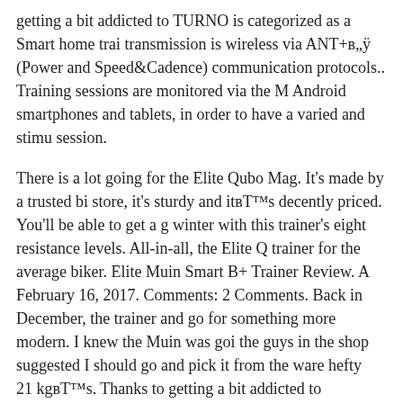getting a bit addicted to TURNO is categorized as a Smart home trainer, transmission is wireless via ANT+в„ÿ (Power and Speed&Cadence) communication protocols.. Training sessions are monitored via the M Android smartphones and tablets, in order to have a varied and stimulating session.
There is a lot going for the Elite Qubo Mag. It's made by a trusted bike store, it's sturdy and itвЂ™s decently priced. You'll be able to get a good winter with this trainer's eight resistance levels. All-in-all, the Elite Q trainer for the average biker. Elite Muin Smart B+ Trainer Review. A February 16, 2017. Comments: 2 Comments. Back in December, the trainer and go for something more modern. I knew the Muin was going the guys in the shop suggested I should go and pick it from the warehouse, hefty 21 kgвЂ™s. Thanks to getting a bit addicted to
Due to its frame design Qubo Digitam Smart B+ is rather incorrect in out of the saddle. Also Qubo Digital Smart B+ does not broadcast its standard ANT+ profiles, it can be a problem if you wish to record your head uinit. In other features they are pretty close to each Elite Qubo M